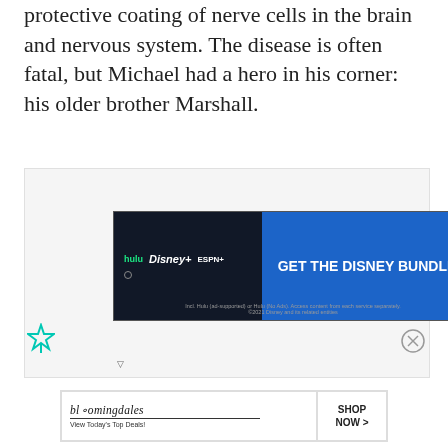protective coating of nerve cells in the brain and nervous system. The disease is often fatal, but Michael had a hero in his corner: his older brother Marshall.
[Figure (other): Disney Bundle advertisement banner showing Hulu, Disney+, and ESPN+ logos with 'GET THE DISNEY BUNDLE' call to action. Fine print reads: Incl. Hulu (ad-supported) or Hulu (No Ads). Access content from each service separately. ©2021 Disney and its related entities]
[Figure (other): Bloomingdale's advertisement showing a woman in a wide-brimmed hat with text 'bloomingdales View Today's Top Deals!' and a 'SHOP NOW >' button]